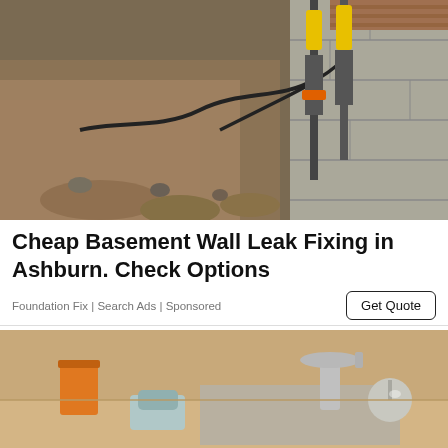[Figure (photo): Basement foundation excavation with hydraulic equipment and black piping against a concrete block wall]
Cheap Basement Wall Leak Fixing in Ashburn. Check Options
Foundation Fix | Search Ads | Sponsored
[Figure (photo): Kitchen sink area with faucet, orange cup, and soap dish on countertop]